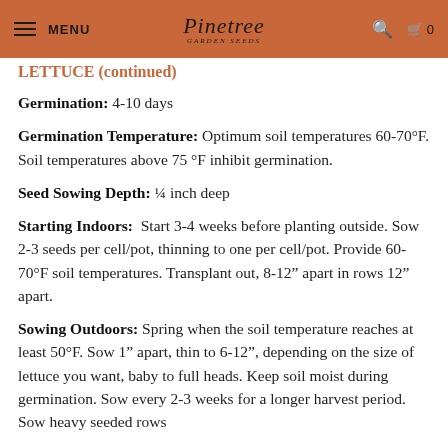MENU | Pinetree Garden Seeds | [search] [cart 0]
LETTUCE (partial)
Germination: 4-10 days
Germination Temperature: Optimum soil temperatures 60-70°F. Soil temperatures above 75 °F inhibit germination.
Seed Sowing Depth: ¼ inch deep
Starting Indoors: Start 3-4 weeks before planting outside. Sow 2-3 seeds per cell/pot, thinning to one per cell/pot. Provide 60-70°F soil temperatures. Transplant out, 8-12" apart in rows 12" apart.
Sowing Outdoors: Spring when the soil temperature reaches at least 50°F. Sow 1" apart, thin to 6-12", depending on the size of lettuce you want, baby to full heads. Keep soil moist during germination. Sow every 2-3 weeks for a longer harvest period. Sow heavy seeded rows (partial)